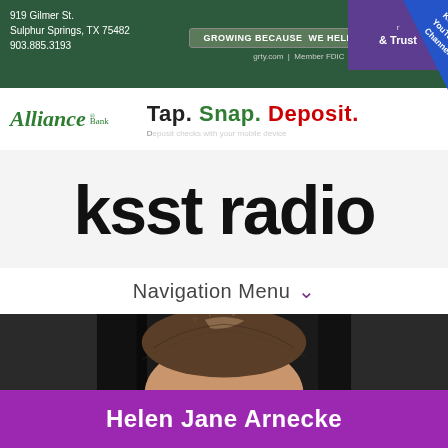919 Gilmer St.
Sulphur Springs, TX 75482
903.885.3193
[Figure (screenshot): Guaranty Bank & Trust advertisement banner: GROWING BECAUSE WE HELP YOU GROW, grty.com | Member FDIC]
[Figure (screenshot): KSST's YouTube Channel ribbon in blue diagonal overlay]
[Figure (screenshot): Alliance Bank advertisement: Tap. Snap. Deposit.]
ksst radio
Navigation Menu
[Figure (photo): Close-up photo of a person's head with brown hair, dark background]
Helen Jane Arnecke